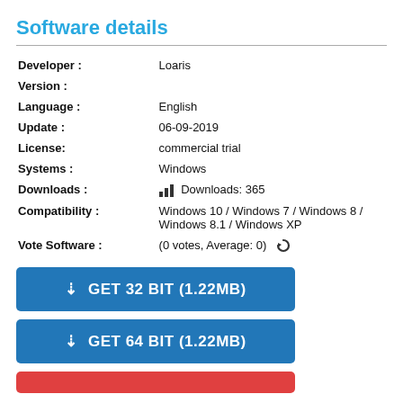Software details
| Field | Value |
| --- | --- |
| Developer : | Loaris |
| Version : |  |
| Language : | English |
| Update : | 06-09-2019 |
| License: | commercial trial |
| Systems : | Windows |
| Downloads : | Downloads: 365 |
| Compatibility : | Windows 10 / Windows 7 / Windows 8 / Windows 8.1 / Windows XP |
| Vote Software : | (0 votes, Average: 0) |
GET 32 BIT (1.22MB)
GET 64 BIT (1.22MB)